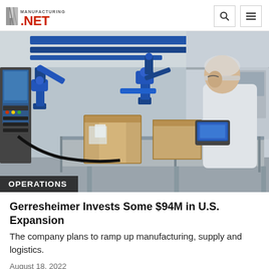Manufacturing.net
[Figure (photo): Industrial manufacturing scene showing blue robotic arms on a production line with cardboard boxes, a worker in white lab coat and hairnet operating a handheld controller, computer screens and control panels visible in background.]
OPERATIONS
Gerresheimer Invests Some $94M in U.S. Expansion
The company plans to ramp up manufacturing, supply and logistics.
August 18, 2022